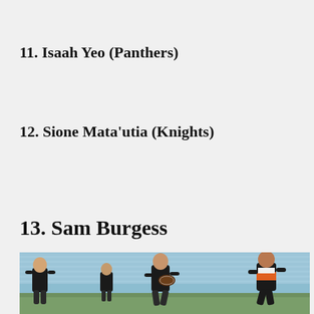11. Isaah Yeo (Panthers)
12. Sione Mata'utia (Knights)
13. Sam Burgess
[Figure (photo): Rugby league players in black uniforms running during a match at a stadium with blue seating in the background.]